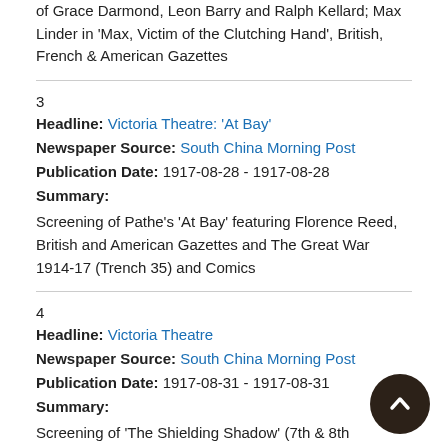of Grace Darmond, Leon Barry and Ralph Kellard; Max Linder in 'Max, Victim of the Clutching Hand', British, French & American Gazettes
3
Headline: Victoria Theatre: 'At Bay'
Newspaper Source: South China Morning Post
Publication Date: 1917-08-28 - 1917-08-28
Summary:
Screening of Pathe's 'At Bay' featuring Florence Reed, British and American Gazettes and The Great War 1914-17 (Trench 35) and Comics
4
Headline: Victoria Theatre
Newspaper Source: South China Morning Post
Publication Date: 1917-08-31 - 1917-08-31
Summary:
Screening of 'The Shielding Shadow' (7th & 8th episodes), Pathe, British, French and American Gazettes, 'The Marvellous Cure of Max' (comics); Coming film: 'The Double Image'